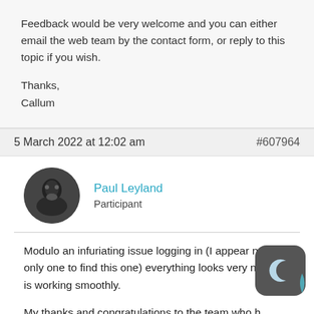Feedback would be very welcome and you can either email the web team by the contact form, or reply to this topic if you wish.
Thanks,
Callum
5 March 2022 at 12:02 am   #607964
[Figure (photo): Circular avatar image of Paul Leyland, dark grayscale photo]
Paul Leyland
Participant
Modulo an infuriating issue logging in (I appear not the only one to find this one) everything looks very nice and is working smoothly.
My thanks and congratulations to the team who h done this work. I know from experience how difficult such major upgrades generally are.